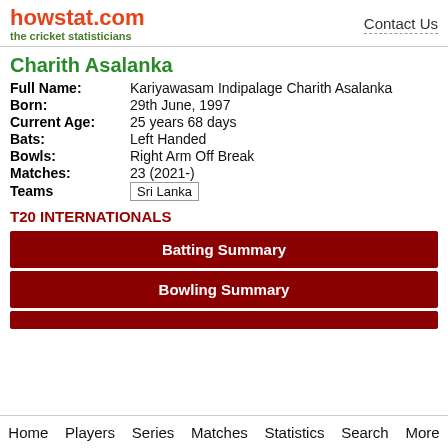howstat.com the cricket statisticians | Contact Us
Charith Asalanka
Full Name: Kariyawasam Indipalage Charith Asalanka
Born: 29th June, 1997
Current Age: 25 years 68 days
Bats: Left Handed
Bowls: Right Arm Off Break
Matches: 23 (2021-)
Teams: Sri Lanka
T20 INTERNATIONALS
Batting Summary
Bowling Summary
Home  Players  Series  Matches  Statistics  Search  More